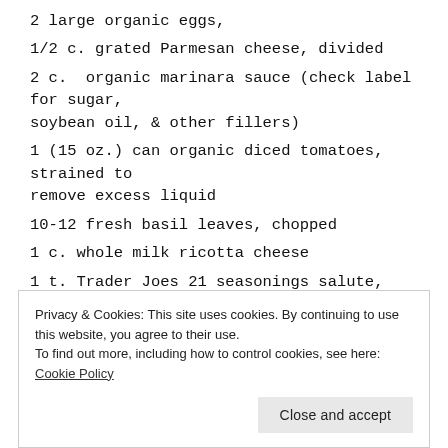2 large organic eggs,
1/2 c. grated Parmesan cheese, divided
2 c.  organic marinara sauce (check label for sugar, soybean oil, & other fillers)
1 (15 oz.) can organic diced tomatoes, strained to remove excess liquid
10-12 fresh basil leaves, chopped
1 c. whole milk ricotta cheese
1 t. Trader Joes 21 seasonings salute, divided (alternative: Italian herbs)
1 c. organic mozzarella cheese, grated
Privacy & Cookies: This site uses cookies. By continuing to use this website, you agree to their use.
To find out more, including how to control cookies, see here: Cookie Policy
Directions: Preheat the oven to 375 degrees